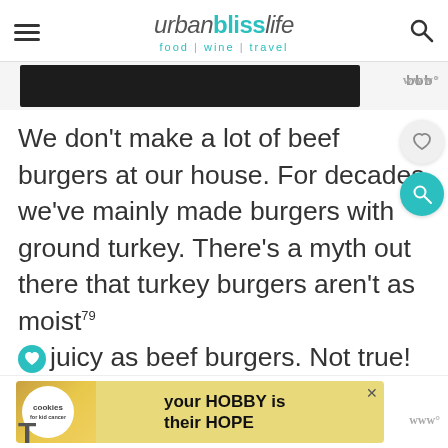urbanblisslife — food | wine | travel
[Figure (screenshot): Dark banner image strip at top of article]
We don't make a lot of beef burgers at our house. For decades we've mainly made burgers with ground turkey. There's a myth out there that turkey burgers aren't as moist, juicy as beef burgers. Not true! We've never found that to be the case.
[Figure (photo): Advertisement banner: cookies for kids cancer — your HOBBY is their HOPE]